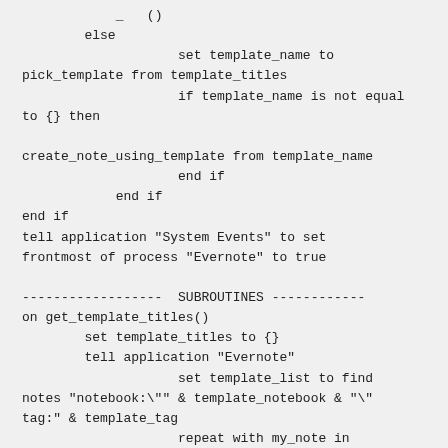_   ()
        else
                    set template_name to pick_template from template_titles
                    if template_name is not equal to {} then

create_note_using_template from template_name
                    end if
            end if
end if
tell application "System Events" to set frontmost of process "Evernote" to true

------------------  SUBROUTINES ------------
on get_template_titles()
        set template_titles to {}
        tell application "Evernote"
                    set template_list to find notes "notebook:\"" & template_notebook & "\" tag:" & template_tag
                    repeat with my_note in